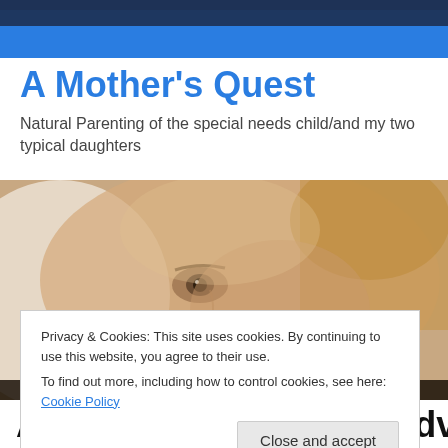[Figure (photo): Sepia-toned close-up photo of a young child's face, showing eyes and forehead, partially cropped at top and bottom of the banner area.]
A Mother's Quest
Natural Parenting of the special needs child/and my two typical daughters
Privacy & Cookies: This site uses cookies. By continuing to use this website, you agree to their use.
To find out more, including how to control cookies, see here: Cookie Policy
Close and accept
Advocacy, Advocacy, Advocacy